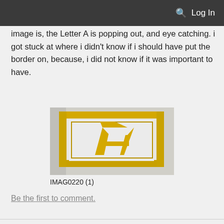🔍 Log In
image is, the Letter A is popping out, and eye catching. i got stuck at where i didn't know if i should have put the border on, because, i did not know if it was important to have.
[Figure (photo): Photo of a yellow taped letter A inside a yellow taped rectangular border frame on a white surface]
IMAG0220 (1)
Be the first to comment.